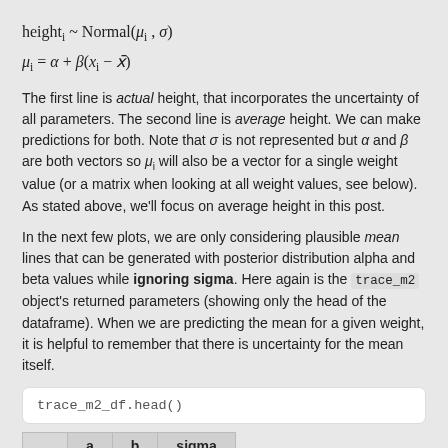The first line is actual height, that incorporates the uncertainty of all parameters. The second line is average height. We can make predictions for both. Note that σ is not represented but α and β are both vectors so μ_i will also be a vector for a single weight value (or a matrix when looking at all weight values, see below). As stated above, we'll focus on average height in this post.
In the next few plots, we are only considering plausible mean lines that can be generated with posterior distribution alpha and beta values while ignoring sigma. Here again is the trace_m2 object's returned parameters (showing only the head of the dataframe). When we are predicting the mean for a given weight, it is helpful to remember that there is uncertainty for the mean itself.
trace_m2_df.head()
|  | a | b | sigma |
| --- | --- | --- | --- |